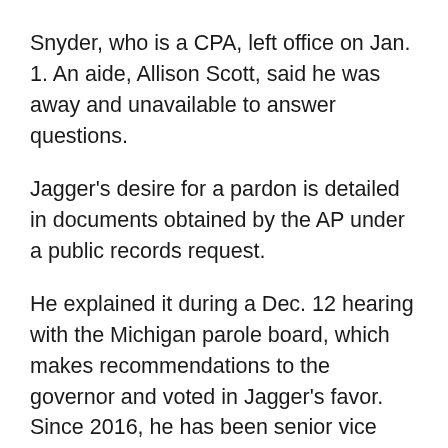Snyder, who is a CPA, left office on Jan. 1. An aide, Allison Scott, said he was away and unavailable to answer questions.
Jagger's desire for a pardon is detailed in documents obtained by the AP under a public records request.
He explained it during a Dec. 12 hearing with the Michigan parole board, which makes recommendations to the governor and voted in Jagger's favor. Since 2016, he has been senior vice president and chief marketing officer at the Michigan CPA organization. The Troy-based group serves 18,000-plus members by offering career workshops, monitoring industry trends and influencing laws and accounting rules in Lansing.
Jagger said he's a "leading candidate" to succeed